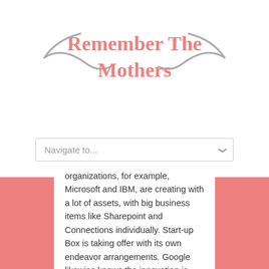Remember The Mothers
Navigate to...
organizations, for example, Microsoft and IBM, are creating with a lot of assets, with big business items like Sharepoint and Connections individually. Start-up Box is taking offer with its own endeavor arrangements. Google likewise knows the innovation is essential and has been chipping away at its own coordinated effort items, thus has Dropbox, which is building up the space for shoppers.
So while it's seriously aggressive, the